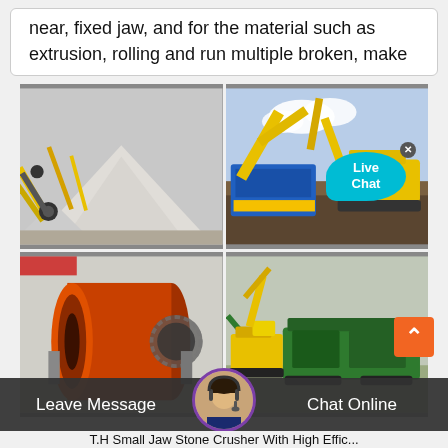near, fixed jaw, and for the material such as extrusion, rolling and run multiple broken, make
[Figure (photo): Four photos of heavy construction and mining equipment: top-left shows yellow crushing/conveyor machinery with gravel pile; top-right shows a yellow excavator with a blue jaw crusher machine and a Live Chat bubble overlay; bottom-left shows orange cylindrical drum mill machinery in an industrial building; bottom-right shows a green mobile crushing/screening machine with a yellow excavator loading it.]
Leave Message    Chat Online
T.H Small Jaw Stone Crusher With High Effic...